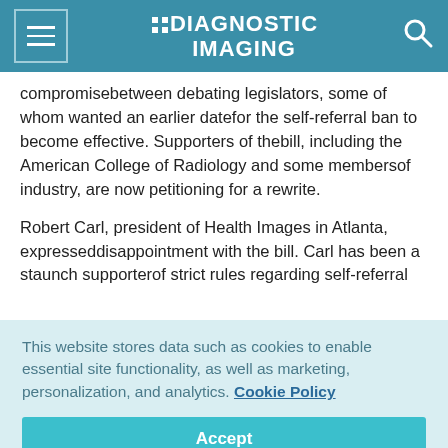DIAGNOSTIC IMAGING
compromisebetween debating legislators, some of whom wanted an earlier datefor the self-referral ban to become effective. Supporters of thebill, including the American College of Radiology and some membersof industry, are now petitioning for a rewrite.
Robert Carl, president of Health Images in Atlanta, expresseddisappointment with the bill. Carl has been a staunch supporterof strict rules regarding self-referral
This website stores data such as cookies to enable essential site functionality, as well as marketing, personalization, and analytics. Cookie Policy
Accept
Deny